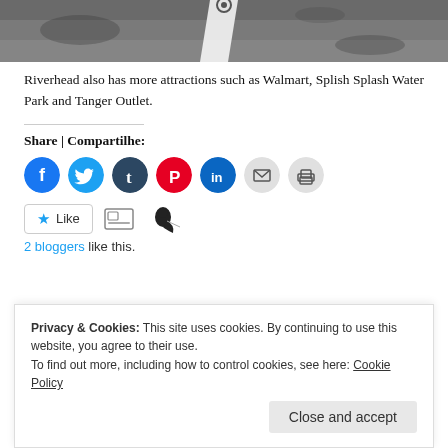[Figure (photo): Top portion of a grayscale photograph showing a road or street with a white line, possibly a parking lot scene]
Riverhead also has more attractions such as Walmart, Splish Splash Water Park and Tanger Outlet.
Share | Compartilhe:
[Figure (infographic): Row of social sharing icon buttons: Facebook, Twitter, Tumblr, Pinterest, LinkedIn, Email, Print]
[Figure (infographic): Like button with star icon, and two blogger avatar icons]
2 bloggers like this.
Privacy & Cookies: This site uses cookies. By continuing to use this website, you agree to their use. To find out more, including how to control cookies, see here: Cookie Policy